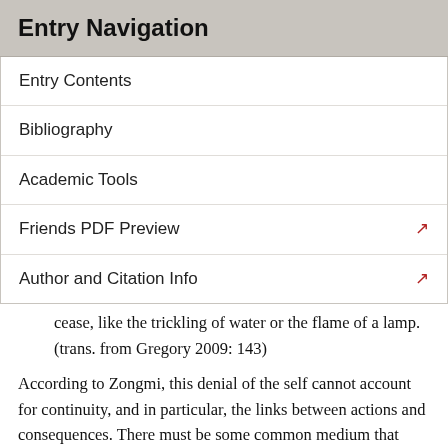Entry Navigation
Entry Contents
Bibliography
Academic Tools
Friends PDF Preview
Author and Citation Info
cease, like the trickling of water or the flame of a lamp. (trans. from Gregory 2009: 143)
According to Zongmi, this denial of the self cannot account for continuity, and in particular, the links between actions and consequences. There must be some common medium that holds the various elements together. That leads into the third position, that all the various changes are appearances of one mind, which is the ultimate reality. This was the position of the Yogācāra or Consciousness-Only (weishi 唯識) school of Buddhism.